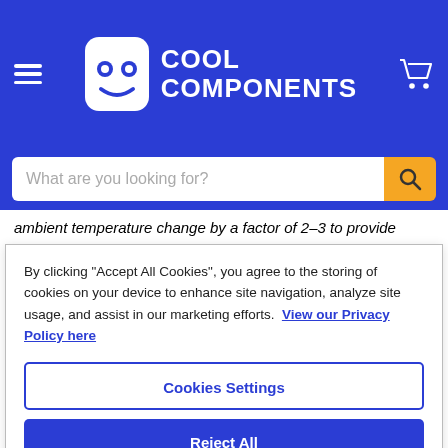Cool Components — navigation header with hamburger menu, logo, and cart icon
What are you looking for? [search input]
ambient temperature change by a factor of 2-3 to provide
By clicking "Accept All Cookies", you agree to the storing of cookies on your device to enhance site navigation, analyze site usage, and assist in our marketing efforts. View our Privacy Policy here
Cookies Settings
Reject All
Accept All Cookies